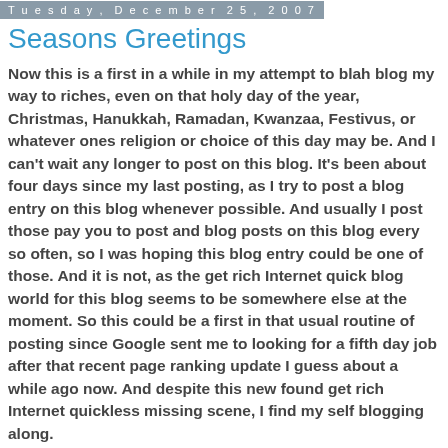Tuesday, December 25, 2007
Seasons Greetings
Now this is a first in a while in my attempt to blah blog my way to riches, even on that holy day of the year, Christmas, Hanukkah, Ramadan, Kwanzaa, Festivus, or whatever ones religion or choice of this day may be. And I can't wait any longer to post on this blog. It's been about four days since my last posting, as I try to post a blog entry on this blog whenever possible. And usually I post those pay you to post and blog posts on this blog every so often, so I was hoping this blog entry could be one of those. And it is not, as the get rich Internet quick blog world for this blog seems to be somewhere else at the moment. So this could be a first in that usual routine of posting since Google sent me to looking for a fifth day job after that recent page ranking update I guess about a while ago now. And despite this new found get rich Internet quickless missing scene, I find my self blogging along.
This day is the day of Christ, Christmas. More of Christ